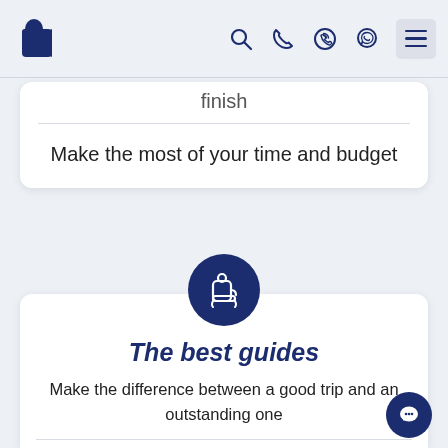[Figure (screenshot): Website navigation bar with logo (Egyptian pharaoh figure), search icon, phone icon, Viber icon, WhatsApp icon, and hamburger menu button]
finish
Make the most of your time and budget
[Figure (illustration): Dark navy circle icon with a person sitting in a seat (guide/tour leader icon)]
The best guides
Make the difference between a good trip and an outstanding one
Our leaders will be there to ensure your safety and wellbeing is the number one priority.
Offering more than just dates and names, they strive to